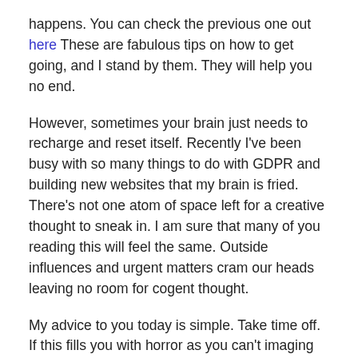happens. You can check the previous one out here These are fabulous tips on how to get going, and I stand by them. They will help you no end.
However, sometimes your brain just needs to recharge and reset itself. Recently I've been busy with so many things to do with GDPR and building new websites that my brain is fried. There's not one atom of space left for a creative thought to sneak in. I am sure that many of you reading this will feel the same. Outside influences and urgent matters cram our heads leaving no room for cogent thought.
My advice to you today is simple. Take time off. If this fills you with horror as you can't imaging taking any time away from your writing, then I'm not talking about a six week holiday here. Even one day can make a difference.
On that day do things you enjoy - read a book, go swimming, go for a walk, cycle ride or run. Whatever helps you to relax do